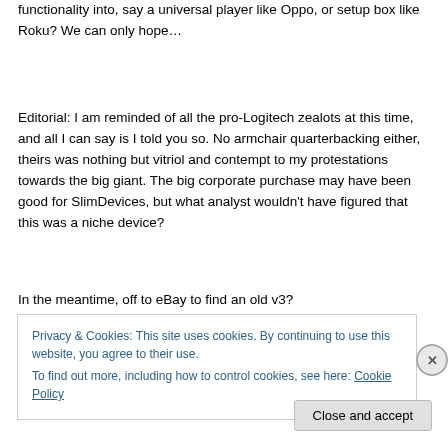functionality into, say a universal player like Oppo, or setup box like Roku? We can only hope…
Editorial: I am reminded of all the pro-Logitech zealots at this time, and all I can say is I told you so. No armchair quarterbacking either, theirs was nothing but vitriol and contempt to my protestations towards the big giant. The big corporate purchase may have been good for SlimDevices, but what analyst wouldn't have figured that this was a niche device?
In the meantime, off to eBay to find an old v3?
Privacy & Cookies: This site uses cookies. By continuing to use this website, you agree to their use.
To find out more, including how to control cookies, see here: Cookie Policy